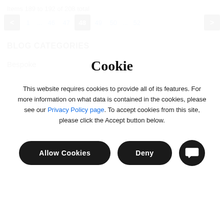Items 189 to 192 of 208 total
< 1 ... 46 47 48 49 50 ... 52 >
BLOG CATEGORIES
Bespoke
Cookie
This website requires cookies to provide all of its features. For more information on what data is contained in the cookies, please see our Privacy Policy page. To accept cookies from this site, please click the Accept button below.
Allow Cookies   Deny